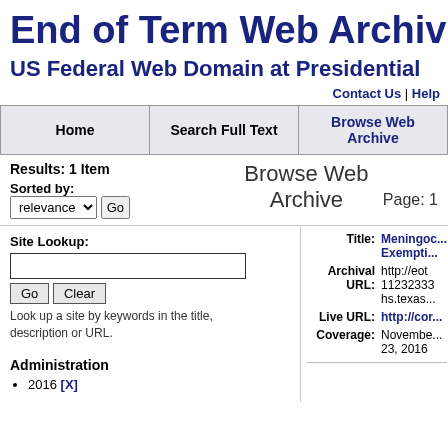End of Term Web Archive  US Federal Web Domain at Presidential
Contact Us | Help
| Home | Search Full Text | Browse Web Archive |
| --- | --- | --- |
Results: 1 Item   Browse Web Archive   Page: 1
Sorted by: relevance  Go
Site Lookup:
Go  Clear
Look up a site by keywords in the title, description or URL.
Title: Meningoc... Exempti...
Archival URL: http://eot 11232333 hs.texas...
Live URL: http://cor
Coverage: November 23, 2016
Administration
2016 [X]